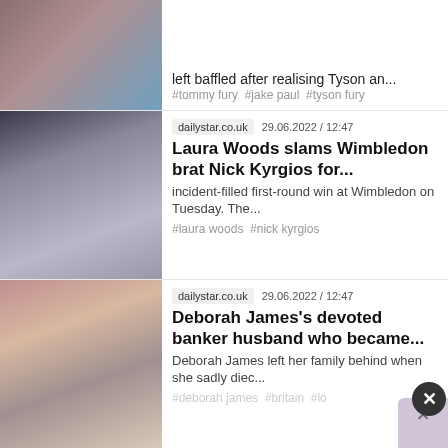[Figure (photo): Partial top article image showing fighters with UFC belt]
left baffled after realising Tyson an...
#tommy fury #jake paul #tyson fury
[Figure (photo): Woman with headphones speaking into a microphone]
dailystar.co.uk   29.06.2022 / 12:47
Laura Woods slams Wimbledon brat Nick Kyrgios for...
incident-filled first-round win at Wimbledon on Tuesday. The...
#laura woods #nick kyrgios
[Figure (photo): Couple posing together — man in suit, woman smiling]
dailystar.co.uk   29.06.2022 / 12:47
Deborah James's devoted banker husband who became...
Deborah James left her family behind when she sadly died...
#deborah james #britain #lo...
[Figure (photo): Partial bottom article image]
thesun.co.uk   29.06.2022 / 12:43
Coronation Street...